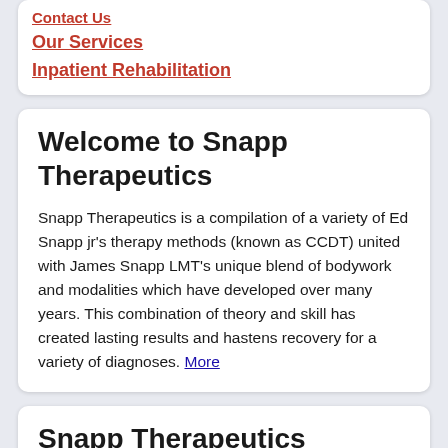Contact Us
Our Services
Inpatient Rehabilitation
Welcome to Snapp Therapeutics
Snapp Therapeutics is a compilation of a variety of Ed Snapp jr's therapy methods (known as CCDT) united with James Snapp LMT's unique blend of bodywork and modalities which have developed over many years. This combination of theory and skill has created lasting results and hastens recovery for a variety of diagnoses. More
Snapp Therapeutics Massage and Rehabilitation 2152 S ...
Get directions, reviews and information for Snapp